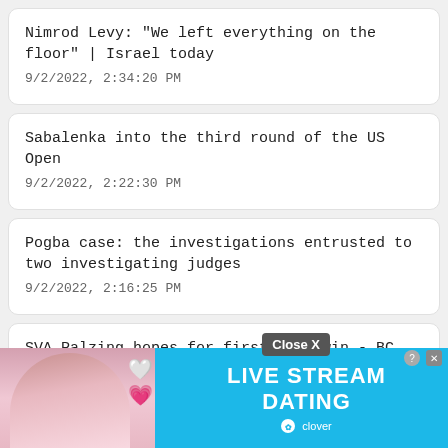Nimrod Levy: "We left everything on the floor" | Israel today
9/2/2022, 2:34:20 PM
Sabalenka into the third round of the US Open
9/2/2022, 2:22:30 PM
Pogba case: the investigations entrusted to two investigating judges
9/2/2022, 2:16:25 PM
SVA Palzing hopes for first home win - BC Attaching probably without top st... Nguel...
9/2/2022, 2:...
[Figure (screenshot): Advertisement banner: LIVE STREAM DATING clover, with a Close X button overlay, and an info/close icon on the ad itself. A woman's photo with hearts emoji is on the left of the ad.]